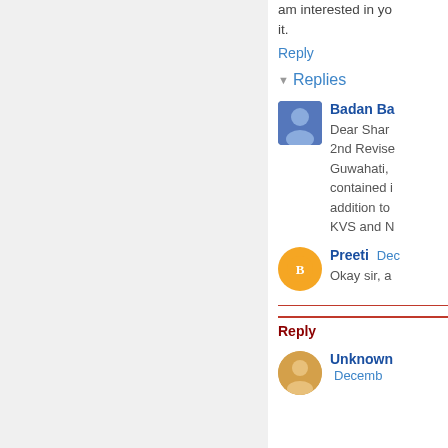am interested in yo it.
Reply
Replies
Badan Ba
Dear Shar 2nd Revised Guwahati, contained i addition to KVS and N
Preeti Dec
Okay sir, a
Reply
Unknown Decemb